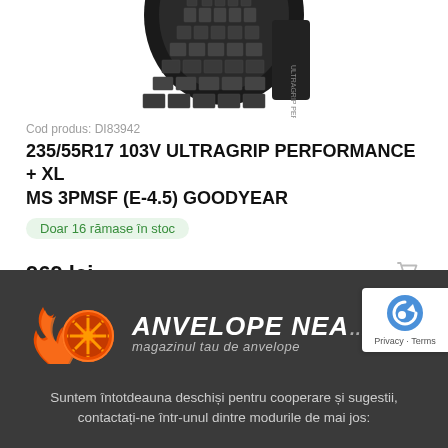[Figure (photo): Close-up photo of a car tire tread pattern, black and white, top portion of tire visible]
Cod produs: DI83942
235/55R17 103V ULTRAGRIP PERFORMANCE + XL MS 3PMSF (E-4.5) GOODYEAR
Doar 16 rămase în stoc
969 lei  TVA inclus
[Figure (logo): Anvelope Neamt logo - orange flaming wheel with brand name and tagline 'magazinul tau de anvelope']
Suntem întotdeauna deschiși pentru cooperare și sugestii, contactați-ne într-unul dintre modurile de mai jos: